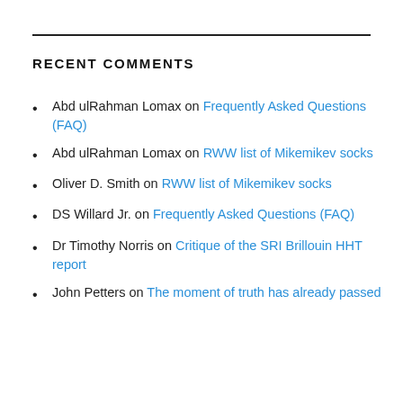RECENT COMMENTS
Abd ulRahman Lomax on Frequently Asked Questions (FAQ)
Abd ulRahman Lomax on RWW list of Mikemikev socks
Oliver D. Smith on RWW list of Mikemikev socks
DS Willard Jr. on Frequently Asked Questions (FAQ)
Dr Timothy Norris on Critique of the SRI Brillouin HHT report
John Petters on The moment of truth has already passed